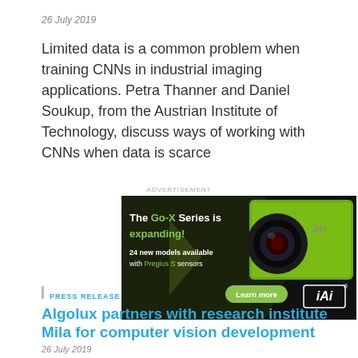26 July 2019
Limited data is a common problem when training CNNs in industrial imaging applications. Petra Thanner and Daniel Soukup, from the Austrian Institute of Technology, discuss ways of working with CNNs when data is scarce
ADVERTISEMENT
[Figure (photo): Advertisement for JAI Go-X Series camera. Dark background with green camera image. Text: 'The Go-X Series is expanding! 24 new models available with Pregius S sensors' and a 'Learn more' button. JAI logo shown.]
PRESS RELEASE
Algolux partners with research institute Mila for computer vision development
26 July 2019